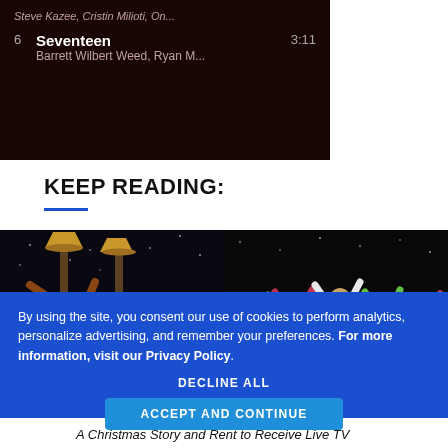[Figure (screenshot): Dark music player panel showing track 6 'Seventeen' by Barrett Wilbert Weed, Ryan M... with duration 3:11]
KEEP READING:
[Figure (photo): Theatre stage photo showing performers with arms raised, leg lamp props on left side and ensemble cast on right side]
By using the site, you consent our use of cookies to perform analytics, personalize advertising, and remember your preferences. For more information, visit our Privacy Policy.
DECLINE ALL
ACCEPT AND CONTINUE
A Christmas Story and Rent to Receive Live TV